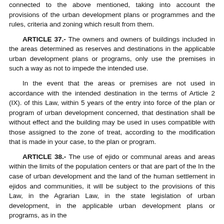connected to the above mentioned, taking into account the provisions of the urban development plans or programmes and the rules, criteria and zoning which result from them.
ARTICLE 37.- The owners and owners of buildings included in the areas determined as reserves and destinations in the applicable urban development plans or programs, only use the premises in such a way as not to impede the intended use.
In the event that the areas or premises are not used in accordance with the intended destination in the terms of Article 2 (IX). of this Law, within 5 years of the entry into force of the plan or program of urban development concerned, that destination shall be without effect and the building may be used in uses compatible with those assigned to the zone of treat, according to the modification that is made in your case, to the plan or program.
ARTICLE 38.- The use of ejido or communal areas and areas within the limits of the population centers or that are part of the In the case of urban development and the land of the human settlement in ejidos and communities, it will be subject to the provisions of this Law, in the Agrarian Law, in the state legislation of urban development, in the applicable urban development plans or programs, as in the